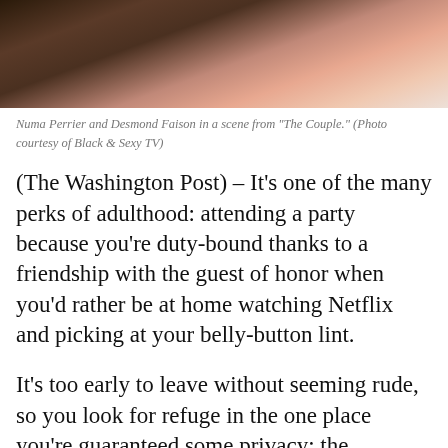[Figure (photo): Photo of Numa Perrier and Desmond Faison in a scene from 'The Couple', showing two people near a bathtub/sink area.]
Numa Perrier and Desmond Faison in a scene from “The Couple.” (Photo courtesy of Black & Sexy TV)
(The Washington Post) – It’s one of the many perks of adulthood: attending a party because you’re duty-bound thanks to a friendship with the guest of honor when you’d rather be at home watching Netflix and picking at your belly-button lint.
It’s too early to leave without seeming rude, so you look for refuge in the one place you’re guaranteed some privacy: the bathroom.